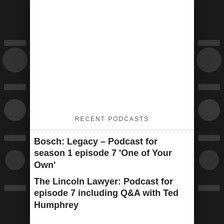[Figure (photo): Blurred dark background with black and white imagery visible on left and right sides of the page, behind a central white panel]
RECENT PODCASTS
Bosch: Legacy – Podcast for season 1 episode 7 'One of Your Own'
The Lincoln Lawyer: Podcast for episode 7 including Q&A with Ted Humphrey